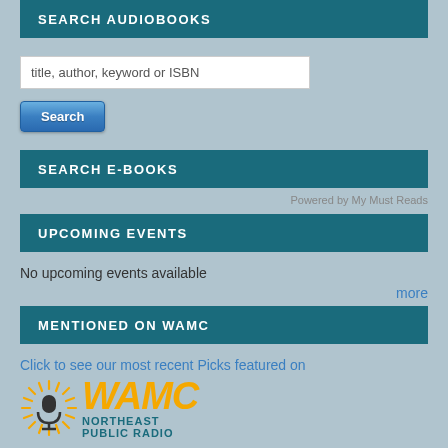SEARCH AUDIOBOOKS
[Figure (screenshot): Search input field with placeholder text 'title, author, keyword or ISBN']
[Figure (screenshot): Blue Search button]
SEARCH E-BOOKS
Powered by My Must Reads
UPCOMING EVENTS
No upcoming events available
more
MENTIONED ON WAMC
Click to see our most recent Picks featured on
[Figure (logo): WAMC Northeast Public Radio logo with sunburst microphone icon and gold WAMC text]